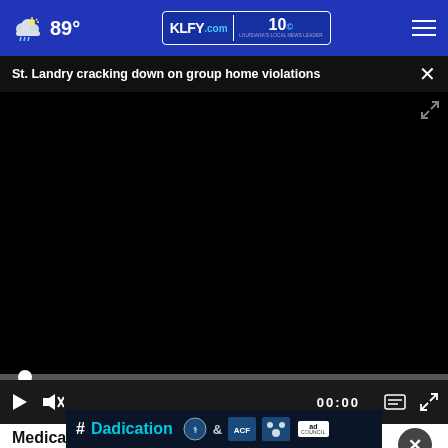89° KLFY.com 10
St. Landry cracking down on group home violations ×
[Figure (screenshot): Black video player area showing a paused/loading video]
▶  🔇  00:00  ≡  ⤢
Medicare Can Apply for
Everyday Finance
[Figure (infographic): #Dadication ad banner with HHS, ACF, and Ad Council logos]